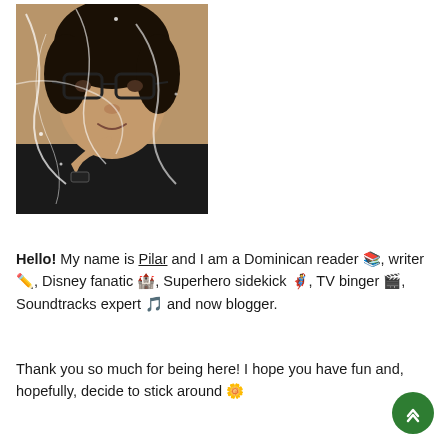[Figure (photo): Profile photo of a young woman with curly dark hair and glasses, resting her chin on her hand, wearing a dark top and watch, with decorative white swirl overlay effects on the photo]
Hello! My name is Pilar and I am a Dominican reader 📚, writer ✏️, Disney fanatic 🏰, Superhero sidekick 🦸, TV binger 🎬, Soundtracks expert 🎵 and now blogger.
Thank you so much for being here! I hope you have fun and, hopefully, decide to stick around 🌼